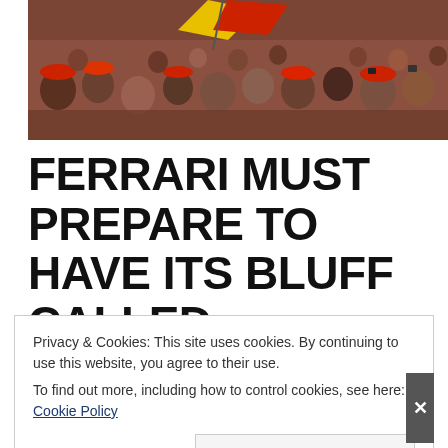[Figure (photo): Crowd of Ferrari fans wearing red caps and clothing, waving a Ferrari flag at what appears to be a Formula 1 event.]
FERRARI MUST PREPARE TO HAVE ITS BLUFF CALLED
Photo Credit: Ferrari Media
Ferrari has yet again threatened to leave Formula 1 if Liberty Media's
Privacy & Cookies: This site uses cookies. By continuing to use this website, you agree to their use.
To find out more, including how to control cookies, see here: Cookie Policy
Close and accept